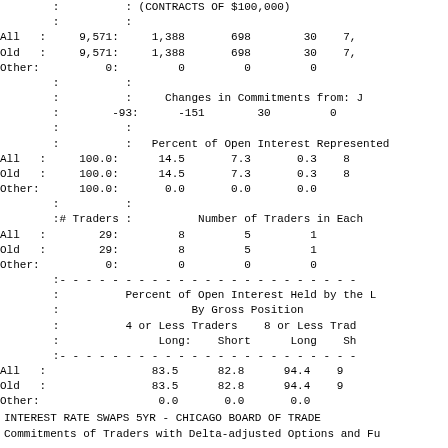|  | : |  | : | (CONTRACTS OF $100,000) |  |  |  |
|  | : |  | : |  |  |  |  |
| All | : | 9,571: |  | 1,388 | 698 | 30 | 7, |
| Old | : | 9,571: |  | 1,388 | 698 | 30 | 7, |
| Other: |  | 0: |  | 0 | 0 | 0 |  |
|  | : |  | : |  |  |  |  |
|  | : |  | : |  | Changes in Commitments from: J |  |  |
|  | : |  | -93: |  | -151 | 30 | 0 |
|  | : |  | : |  |  |  |  |
|  | : |  | : |  | Percent of Open Interest Represented |  |  |
| All | : | 100.0: |  | 14.5 | 7.3 | 0.3 | 8 |
| Old | : | 100.0: |  | 14.5 | 7.3 | 0.3 | 8 |
| Other: |  | 100.0: |  | 0.0 | 0.0 | 0.0 |  |
|  | : |  | : |  |  |  |  |
|  | :# Traders : |  |  | Number of Traders in Each |  |  |  |
| All | : | 29: |  | 8 | 5 | 1 |  |
| Old | : | 29: |  | 8 | 5 | 1 |  |
| Other: |  | 0: |  | 0 | 0 | 0 |  |
|  | : | -------------------------------------------- |  |  |  |  |  |
|  | : |  |  | Percent of Open Interest Held by the L |  |  |  |
|  | : |  |  | By Gross Position |  |  |  |
|  | : |  |  | 4 or Less Traders |  | 8 or Less Trad |  |
|  | : |  |  | Long: | Short | Long | Sh |
|  | : | -------------------------------------------- |  |  |  |  |  |
| All | : |  |  | 83.5 | 82.8 | 94.4 | 9 |
| Old | : |  |  | 83.5 | 82.8 | 94.4 | 9 |
| Other: |  |  |  | 0.0 | 0.0 | 0.0 |  |
INTEREST RATE SWAPS 5YR - CHICAGO BOARD OF TRADE
Commitments of Traders with Delta-adjusted Options and Fu